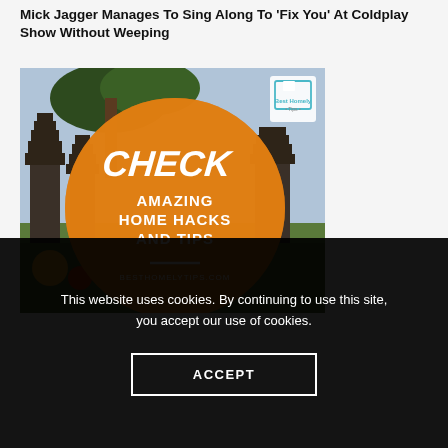Mick Jagger Manages To Sing Along To 'Fix You' At Coldplay Show Without Weeping
[Figure (infographic): Advertisement image showing Balinese temple background with large orange circle overlay containing text: CHECK AMAZING HOME HACKS AND TIPS BESTHOMELYTIPS.COM, with Best Homely Tips logo in top right corner]
This website uses cookies. By continuing to use this site, you accept our use of cookies.
ACCEPT